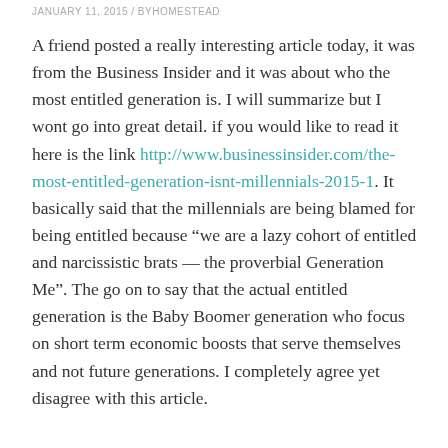JANUARY 11, 2015 / BYHOMESTEAD
A friend posted a really interesting article today, it was from the Business Insider and it was about who the most entitled generation is.  I will summarize but I wont go into great detail.  if you would like to read it here is the link http://www.businessinsider.com/the-most-entitled-generation-isnt-millennials-2015-1.  It basically said that the millennials are being blamed for being entitled because “we are a lazy cohort of entitled and narcissistic brats — the proverbial Generation Me”.  The go on to say that the actual entitled generation is the Baby Boomer generation who focus on short term economic boosts that serve themselves and not future generations.  I completely agree yet disagree with this article.